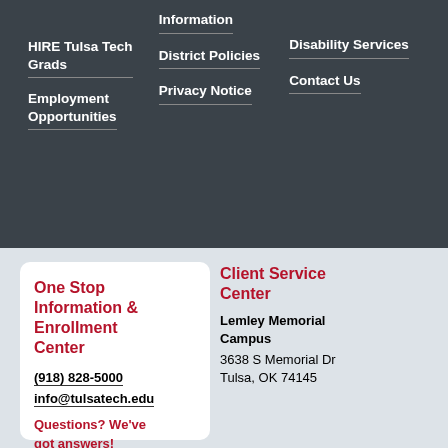HIRE Tulsa Tech Grads
Employment Opportunities
Information
District Policies
Privacy Notice
Disability Services
Contact Us
One Stop Information & Enrollment Center
(918) 828-5000
info@tulsatech.edu
Questions? We've got answers!
Client Service Center
Lemley Memorial Campus
3638 S Memorial Dr
Tulsa, OK 74145
District Mailing Address
Tulsa Technology Center
P.O. Box 477200
Deliveries
Warehouse
5647 S. 122nd East Ave.
Tulsa, OK 74146